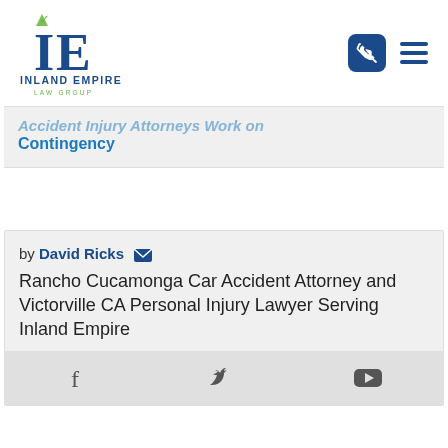[Figure (logo): Inland Empire Law Group logo with stylized IE monogram and green leaf accent]
Accident Injury Attorneys Work on Contingency
by David Ricks
Rancho Cucamonga Car Accident Attorney and Victorville CA Personal Injury Lawyer Serving Inland Empire
[Figure (other): Social media icons: Facebook, Twitter, YouTube]